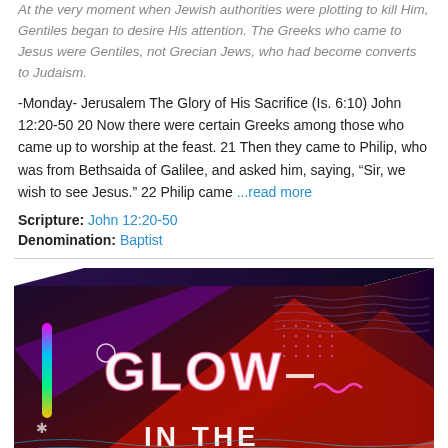At the very moment when Jewish authorities were plotting to kill Him, Gentiles began to desire His attention. The Greeks who came to Jesus were Gentiles, not Grecian Jews, who had become converts to Judaism.
-Monday- Jerusalem The Glory of His Sacrifice (Is. 6:10) John 12:20-50 20 Now there were certain Greeks among those who came up to worship at the feast. 21 Then they came to Philip, who was from Bethsaida of Galilee, and asked him, saying, “Sir, we wish to see Jesus.” 22 Philip came ...read more
Scripture: John 12:20-50
Denomination: Baptist
[Figure (illustration): Colorful neon-style box product image with dark purple/red background, geometric shapes, and glowing text reading 'GLOW IN THE' in neon pink/white letters, with abstract light elements including a vertical rainbow gradient bar and decorative wave patterns.]